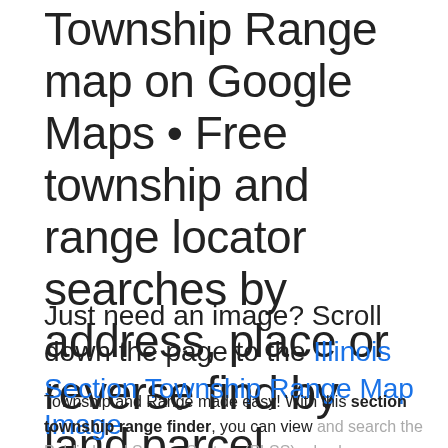Township Range map on Google Maps • Free township and range locator searches by address, place or reverse find by land parcel description.
Just need an image? Scroll down the page to the Illinois Section Township Range Map Image
Township and Range made easy! With this section township range finder, you can view and search the Public Land Survey System (PLSS), also known as Congressional townships or survey townships, all the way down to the